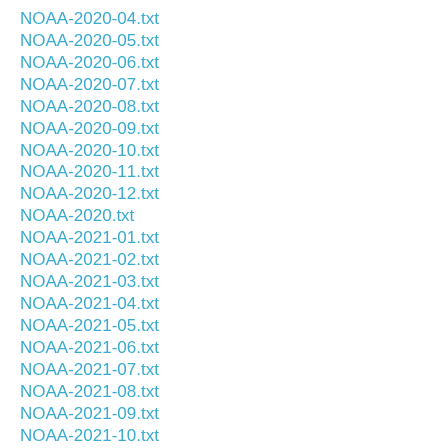NOAA-2020-04.txt
NOAA-2020-05.txt
NOAA-2020-06.txt
NOAA-2020-07.txt
NOAA-2020-08.txt
NOAA-2020-09.txt
NOAA-2020-10.txt
NOAA-2020-11.txt
NOAA-2020-12.txt
NOAA-2020.txt
NOAA-2021-01.txt
NOAA-2021-02.txt
NOAA-2021-03.txt
NOAA-2021-04.txt
NOAA-2021-05.txt
NOAA-2021-06.txt
NOAA-2021-07.txt
NOAA-2021-08.txt
NOAA-2021-09.txt
NOAA-2021-10.txt
NOAA-2021-11.txt
NOAA-2021-12.txt
NOAA-2021.txt (partial)